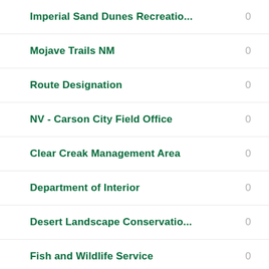Imperial Sand Dunes Recreatio...  0
Mojave Trails NM  0
Route Designation  0
NV - Carson City Field Office  0
Clear Creak Management Area  0
Department of Interior  0
Desert Landscape Conservatio...  0
Fish and Wildlife Service  0